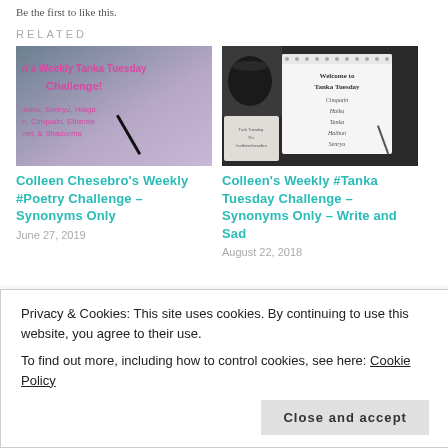Be the first to like this.
RELATED
[Figure (photo): Colleen Chesebro's Weekly #Poetry Challenge – Synonyms Only blog post thumbnail showing handwriting and flowers]
Colleen Chesebro's Weekly #Poetry Challenge – Synonyms Only
June 27, 2019
[Figure (photo): Colleen's Weekly #Tanka Tuesday Challenge – Synonyms Only – Write and Sad blog post thumbnail showing a notebook with poetry forms listed]
Colleen's Weekly #Tanka Tuesday Challenge – Synonyms Only – Write and Sad
August 22, 2018
Privacy & Cookies: This site uses cookies. By continuing to use this website, you agree to their use.
To find out more, including how to control cookies, see here: Cookie Policy
Close and accept